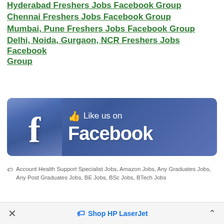Hyderabad Freshers Jobs Facebook Group
Chennai Freshers Jobs Facebook Group
Mumbai, Pune Freshers Jobs Facebook Group
Delhi, Noida, Gurgaon, NCR Freshers Jobs Facebook Group
[Figure (other): Like us on Facebook banner with Facebook logo and thumbs up icon]
Account Health Support Specialist Jobs, Amazon Jobs, Any Graduates Jobs, Any Post Graduates Jobs, BE Jobs, BSc Jobs, BTech Jobs
× Shop HP LaserJet ^